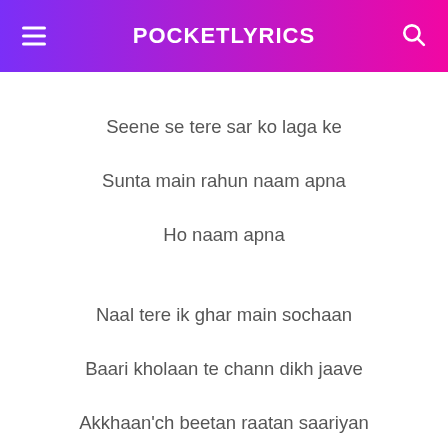POCKETLYRICS
Seene se tere sar ko laga ke
Sunta main rahun naam apna
Ho naam apna
Naal tere ik ghar main sochaan
Baari kholaan te chann dikh jaave
Akkhaan'ch beetan raatan saariyan